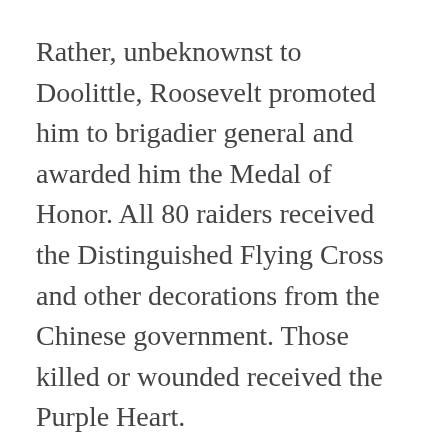Rather, unbeknownst to Doolittle, Roosevelt promoted him to brigadier general and awarded him the Medal of Honor. All 80 raiders received the Distinguished Flying Cross and other decorations from the Chinese government. Those killed or wounded received the Purple Heart.
Despite Doolittle’s pessimism about the effects of the raid, it did have significant and long-term implications. First, it provided a tremendous boost to American morale. Newspaper headlines and radio journalists proclaimed “Tokyo Bombed”—the first bit of good war news after a litany of bad tidings from the Pacific. The morale...